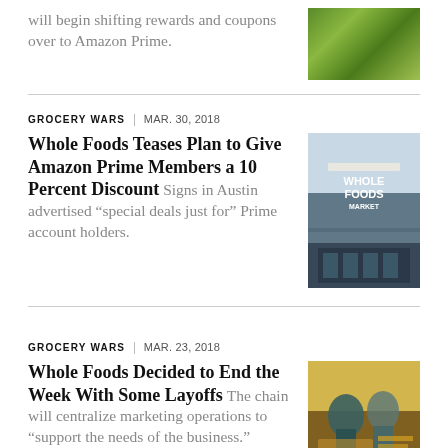will begin shifting rewards and coupons over to Amazon Prime.
[Figure (photo): Green produce/vegetables thumbnail image]
GROCERY WARS | MAR. 30, 2018
Whole Foods Teases Plan to Give Amazon Prime Members a 10 Percent Discount Signs in Austin advertised “special deals just for” Prime account holders.
[Figure (photo): Whole Foods Market storefront building exterior]
GROCERY WARS | MAR. 23, 2018
Whole Foods Decided to End the Week With Some Layoffs The chain will centralize marketing operations to “support the needs of the business.”
[Figure (photo): Whole Foods store worker at a food counter]